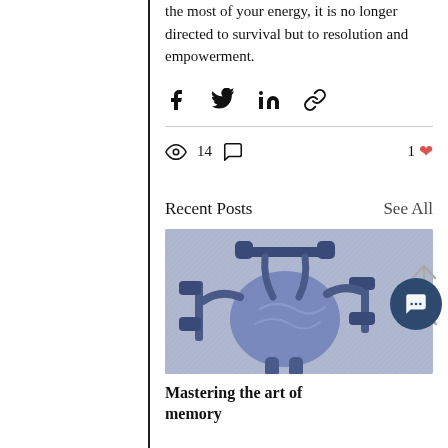the most of your energy, it is no longer directed to survival but to resolution and empowerment.
[Figure (infographic): Social share icons: Facebook (f), Twitter bird, LinkedIn (in), Link/chain icon]
14 views, 0 comments, 1 like
Recent Posts
See All
[Figure (illustration): Illustration of a brain character lifting dumbbells/weights, rendered in blue-grey tones]
Mastering the art of memory